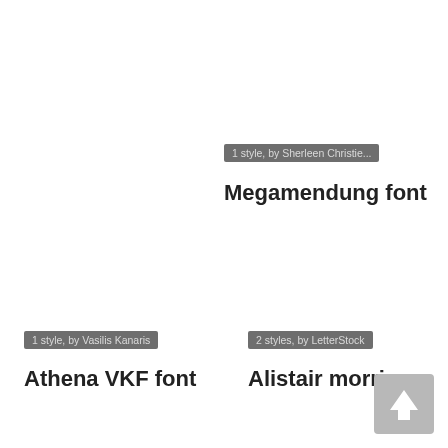1 style, by Sherleen Christie...
Megamendung font
1 style, by Vasilis Kanaris
Athena VKF font
2 styles, by LetterStock
Alistair morrison
[Figure (other): Scroll-to-top arrow button (grey)]